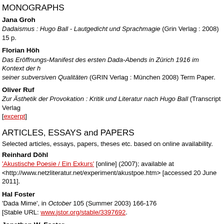MONOGRAPHS
Jana Groh
Dadaismus : Hugo Ball - Lautgedicht und Sprachmagie (Grin Verlag : 2008) 15 p.
Florian Höh
Das Eröffnungs-Manifest des ersten Dada-Abends in Zürich 1916 im Kontext der h seiner subversiven Qualitäten (GRIN Verlag : München 2008) Term Paper.
Oliver Ruf
Zur Ästhetik der Provokation : Kritik und Literatur nach Hugo Ball (Transcript Verlag [excerpt]
ARTICLES, ESSAYS and PAPERS
Selected articles, essays, papers, theses etc. based on online availability.
Reinhard Döhl
'Akustische Poesie / Ein Exkurs' [online] (2007); available at <http://www.netzliteratur.net/experiment/akustpoe.htm> [accessed 20 June 2011].
Hal Foster
'Dada Mime', in October 105 (Summer 2003) 166-176
[Stable URL: www.jstor.org/stable/3397692.
Jonathan W. Foster
Dada was there before Derrida was there : The sound poetry of Hugo Ball A The...